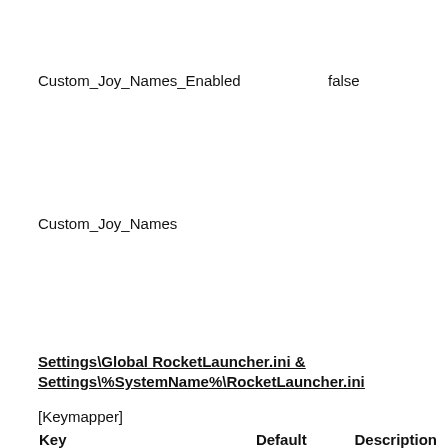Custom_Joy_Names_Enabled    false
Custom_Joy_Names
Settings\Global RocketLauncher.ini & Settings\%SystemName%\RocketLauncher.ini
[Keymapper]
| Key | Default
Value | Description |
| --- | --- | --- |